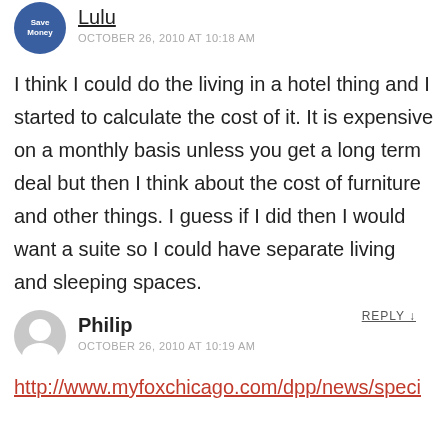[Figure (illustration): Circular avatar for user Lulu with blue background and 'Save Money' text]
Lulu
OCTOBER 26, 2010 AT 10:18 AM
I think I could do the living in a hotel thing and I started to calculate the cost of it. It is expensive on a monthly basis unless you get a long term deal but then I think about the cost of furniture and other things. I guess if I did then I would want a suite so I could have separate living and sleeping spaces.
REPLY ↓
[Figure (illustration): Circular grey avatar icon for user Philip]
Philip
OCTOBER 26, 2010 AT 10:19 AM
http://www.myfoxchicago.com/dpp/news/speci